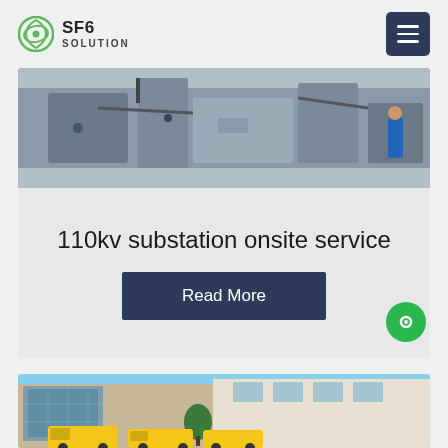SF6 SOLUTION
[Figure (photo): Industrial electrical substation equipment photo, top of card]
110kv substation onsite service
Read More
[Figure (photo): Office building exterior with yellow trucks/vans parked in front]